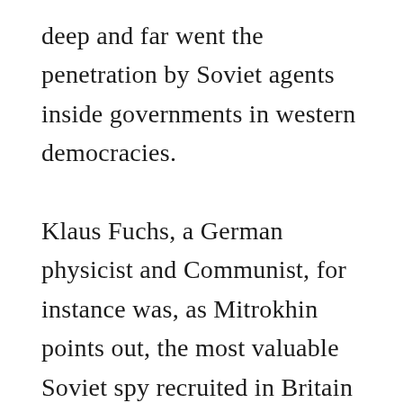deep and far went the penetration by Soviet agents inside governments in western democracies.

Klaus Fuchs, a German physicist and Communist, for instance was, as Mitrokhin points out, the most valuable Soviet spy recruited in Britain in 1941. He would be the most important Soviet asset as a member of the British team of scientists sent to work on the Manhattan project in Los Alamos, and his